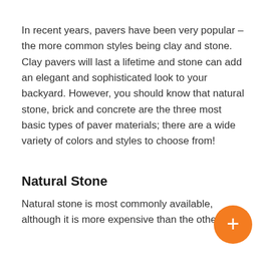In recent years, pavers have been very popular – the more common styles being clay and stone. Clay pavers will last a lifetime and stone can add an elegant and sophisticated look to your backyard. However, you should know that natural stone, brick and concrete are the three most basic types of paver materials; there are a wide variety of colors and styles to choose from!
Natural Stone
Natural stone is most commonly available, although it is more expensive than the other